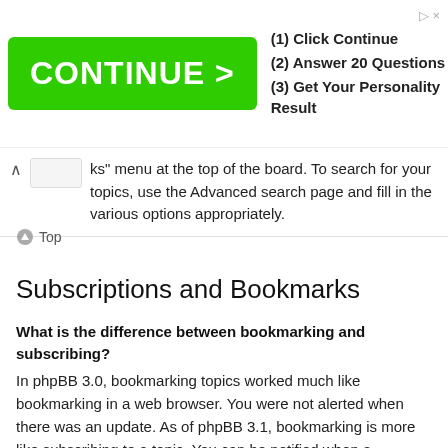[Figure (other): Advertisement banner with green CONTINUE > button and text: (1) Click Continue, (2) Answer 20 Questions, (3) Get Your Personality Result]
ks” menu at the top of the board. To search for your topics, use the Advanced search page and fill in the various options appropriately.
⊙ Top
Subscriptions and Bookmarks
What is the difference between bookmarking and subscribing?
In phpBB 3.0, bookmarking topics worked much like bookmarking in a web browser. You were not alerted when there was an update. As of phpBB 3.1, bookmarking is more like subscribing to a topic. You can be notified when a bookmarked topic is updated. Subscribing, however, will notify you when